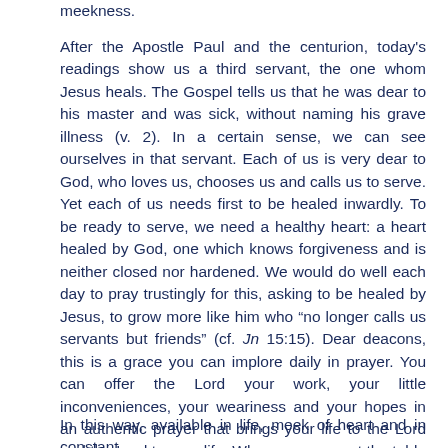meekness.
After the Apostle Paul and the centurion, today's readings show us a third servant, the one whom Jesus heals. The Gospel tells us that he was dear to his master and was sick, without naming his grave illness (v. 2). In a certain sense, we can see ourselves in that servant. Each of us is very dear to God, who loves us, chooses us and calls us to serve. Yet each of us needs first to be healed inwardly. To be ready to serve, we need a healthy heart: a heart healed by God, one which knows forgiveness and is neither closed nor hardened. We would do well each day to pray trustingly for this, asking to be healed by Jesus, to grow more like him who “no longer calls us servants but friends” (cf. Jn 15:15). Dear deacons, this is a grace you can implore daily in prayer. You can offer the Lord your work, your little inconveniences, your weariness and your hopes in an authentic prayer that brings your life to the Lord and the Lord to your life. When you serve at the table of the Eucharist, there you will find the presence of Jesus, who gives himself to you so that you can give yourselves to others.
In this way, available in life, meek of heart and in constant